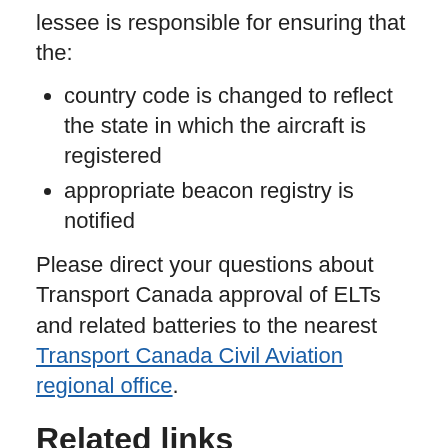lessee is responsible for ensuring that the:
country code is changed to reflect the state in which the aircraft is registered
appropriate beacon registry is notified
Please direct your questions about Transport Canada approval of ELTs and related batteries to the nearest Transport Canada Civil Aviation regional office.
Related links
Canadian Aviation Regulations (CAR), Section 605.38
Airworthiness Manual, Chapter 551